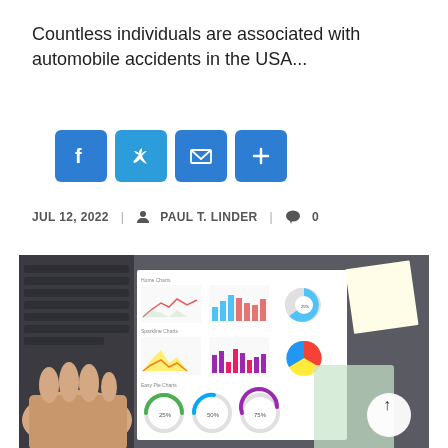Countless individuals are associated with automobile accidents in the USA...
[Figure (infographic): Social share icons: Facebook, Twitter, Email, and a plus/more button, all in blue rounded squares]
JUL 12, 2022  |  PAUL T. LINDER  |  0
[Figure (photo): Photo of a laptop keyboard with a hand typing, and a printed analytics report showing line charts, bar charts, pie charts, and donut gauge charts on a dark desk surface, with a yellow sticky note in the top right corner and a circular back-to-top button.]